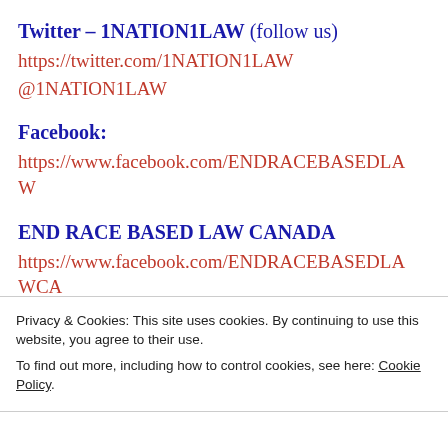Twitter – 1NATION1LAW (follow us)
https://twitter.com/1NATION1LAW
@1NATION1LAW
Facebook:
https://www.facebook.com/ENDRACEBASEDLAW
END RACE BASED LAW CANADA
https://www.facebook.com/ENDRACEBASEDLAWCA...
ONE NATION ONE LAW CANADA
https://www.facebook.com/ONENATIONONELAWCA...
Privacy & Cookies: This site uses cookies. By continuing to use this website, you agree to their use.
To find out more, including how to control cookies, see here: Cookie Policy
Close and accept